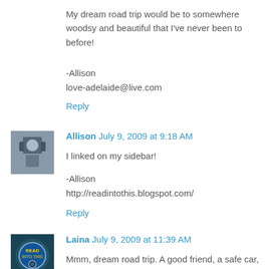My dream road trip would be to somewhere woodsy and beautiful that I've never been to before!
-Allison
love-adelaide@live.com
Reply
Allison  July 9, 2009 at 9:18 AM
I linked on my sidebar!
-Allison
http://readintothis.blogspot.com/
Reply
Laina  July 9, 2009 at 11:39 AM
Mmm, dream road trip. A good friend, a safe car, a week or two for me to OCD out over the details, lots of music, and BEA at the end of the trip. :D